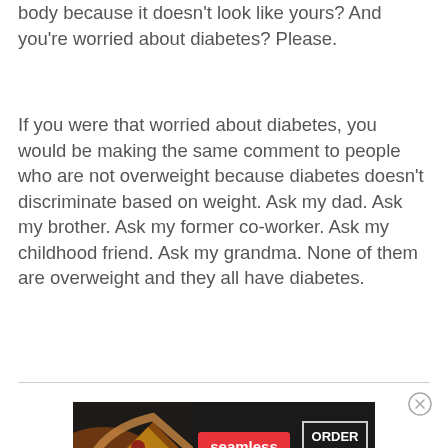body because it doesn't look like yours? And you're worried about diabetes? Please.
If you were that worried about diabetes, you would be making the same comment to people who are not overweight because diabetes doesn't discriminate based on weight. Ask my dad. Ask my brother. Ask my former co-worker. Ask my childhood friend. Ask my grandma. None of them are overweight and they all have diabetes.
[Figure (other): Seamless food delivery advertisement banner with pizza image on left, Seamless logo in red center, and 'ORDER NOW' button in outlined box on right, all on dark background.]